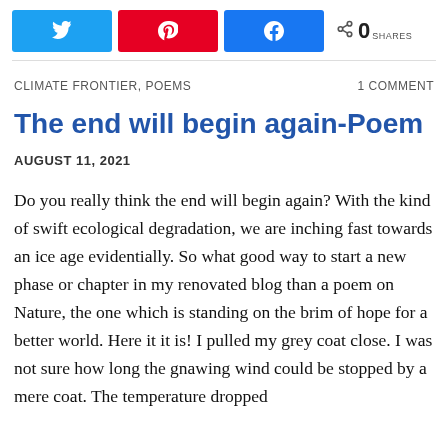[Figure (other): Social sharing buttons: Twitter (blue), Pinterest (red), Facebook (blue), and a share count showing 0 SHARES]
CLIMATE FRONTIER, POEMS    1 COMMENT
The end will begin again-Poem
AUGUST 11, 2021
Do you really think the end will begin again? With the kind of swift ecological degradation, we are inching fast towards an ice age evidentially. So what good way to start a new phase or chapter in my renovated blog than a poem on Nature, the one which is standing on the brim of hope for a better world. Here it it is! I pulled my grey coat close. I was not sure how long the gnawing wind could be stopped by a mere coat. The temperature dropped